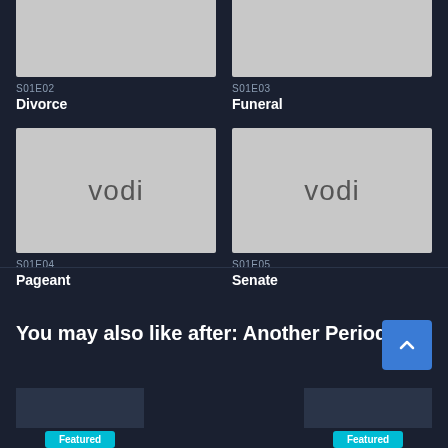[Figure (screenshot): Thumbnail placeholder (gray) for S01E02]
S01E02
Divorce
[Figure (screenshot): Thumbnail placeholder (gray) for S01E03]
S01E03
Funeral
[Figure (screenshot): Thumbnail with vodi logo for S01E04]
S01E04
Pageant
[Figure (screenshot): Thumbnail with vodi logo for S01E05]
S01E05
Senate
You may also like after: Another Period
Featured
Featured